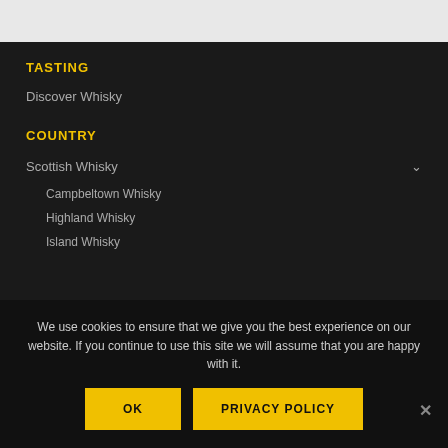TASTING
Discover Whisky
COUNTRY
Scottish Whisky
Campbeltown Whisky
Highland Whisky
Island Whisky
We use cookies to ensure that we give you the best experience on our website. If you continue to use this site we will assume that you are happy with it.
OK
PRIVACY POLICY